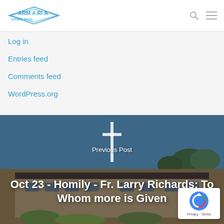ARMARIA - logo with navigation icons
Log in
Entries feed
Comments feed
WordPress.org
[Figure (photo): Church building with a cross on top against a blue sky, with text overlay: Previous Post - Oct 23 - Homily - Fr. Larry Richards: To Whom more is Given]